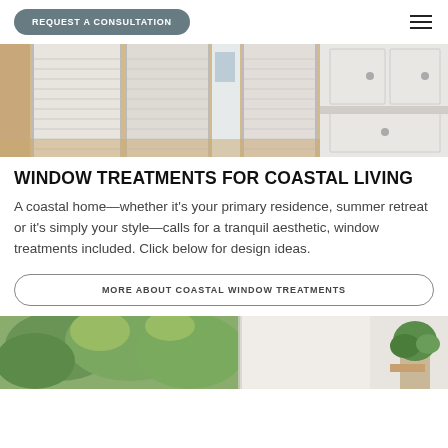REQUEST A CONSULTATION
[Figure (photo): Interior room showing white plantation shutters on large windows/doors, with white kitchen cabinetry and wood floors]
WINDOW TREATMENTS FOR COASTAL LIVING
A coastal home—whether it's your primary residence, summer retreat or it's simply your style—calls for a tranquil aesthetic, window treatments included. Click below for design ideas.
MORE ABOUT COASTAL WINDOW TREATMENTS
[Figure (photo): Outdoor garden scene with lush green trees and foliage, and a glimpse of an interior with a plant]